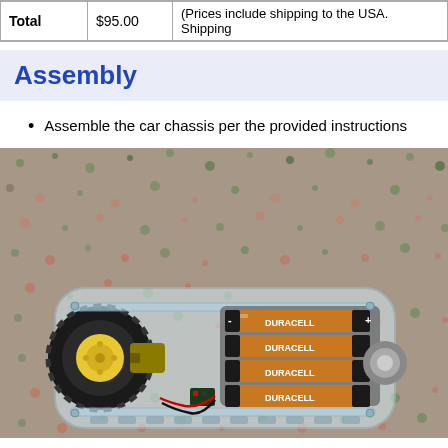| Total | $95.00 | (Prices include shipping to the USA. Shipping... |
| --- | --- | --- |
Assembly
Assemble the car chassis per the provided instructions
[Figure (photo): Photo of a car chassis robot on a carpet, showing wheels, Duracell batteries, motors, and a clear acrylic frame.]